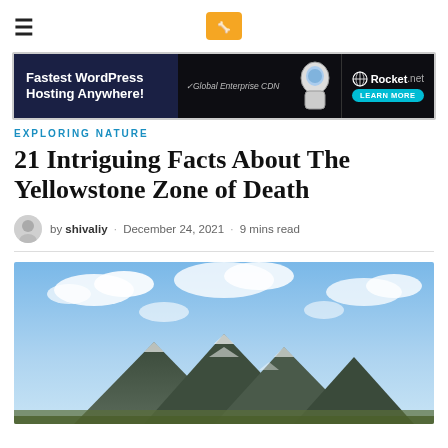Navigation header with hamburger menu and site logo
[Figure (screenshot): Advertisement banner: Fastest WordPress Hosting Anywhere! with Global Enterprise CDN and Rocket.net branding]
EXPLORING NATURE
21 Intriguing Facts About The Yellowstone Zone of Death
by shivaliy · December 24, 2021 · 9 mins read
[Figure (photo): Landscape photo of Yellowstone area showing snow-capped mountains under a blue sky with clouds]